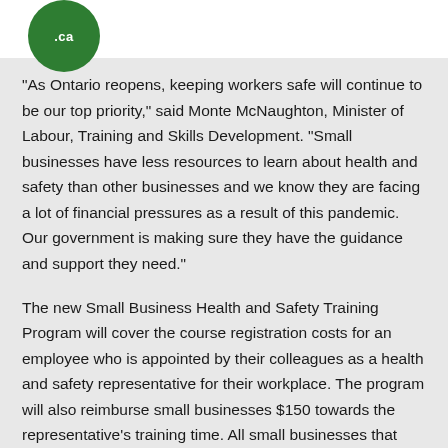.ca
“As Ontario reopens, keeping workers safe will continue to be our top priority,” said Monte McNaughton, Minister of Labour, Training and Skills Development. “Small businesses have less resources to learn about health and safety than other businesses and we know they are facing a lot of financial pressures as a result of this pandemic. Our government is making sure they have the guidance and support they need.”
The new Small Business Health and Safety Training Program will cover the course registration costs for an employee who is appointed by their colleagues as a health and safety representative for their workplace. The program will also reimburse small businesses $150 towards the representative’s training time. All small businesses that